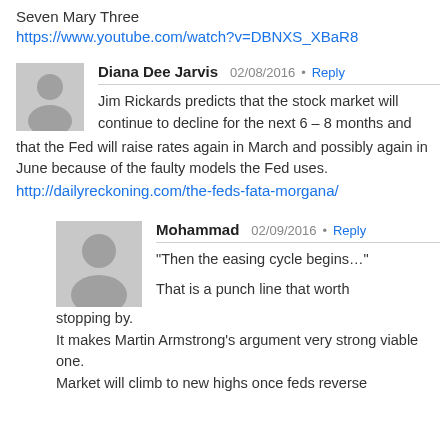Seven Mary Three
https://www.youtube.com/watch?v=DBNXS_XBaR8
Diana Dee Jarvis  02/08/2016 • Reply
Jim Rickards predicts that the stock market will continue to decline for the next 6 – 8 months and that the Fed will raise rates again in March and possibly again in June because of the faulty models the Fed uses.
http://dailyreckoning.com/the-feds-fata-morgana/
Mohammad  02/09/2016 • Reply
"Then the easing cycle begins..."
That is a punch line that worth stopping by.
It makes Martin Armstrong's argument very strong viable one.
Market will climb to new highs once feds reverse